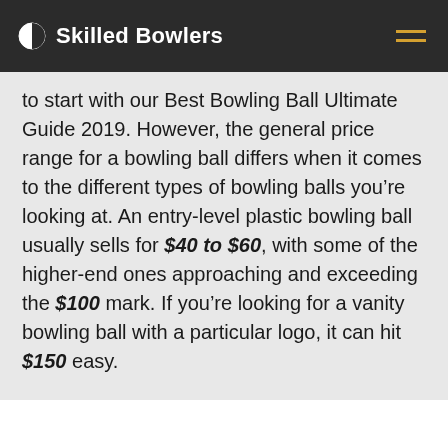Skilled Bowlers
to start with our Best Bowling Ball Ultimate Guide 2019. However, the general price range for a bowling ball differs when it comes to the different types of bowling balls you’re looking at. An entry-level plastic bowling ball usually sells for $40 to $60, with some of the higher-end ones approaching and exceeding the $100 mark. If you’re looking for a vanity bowling ball with a particular logo, it can hit $150 easy.